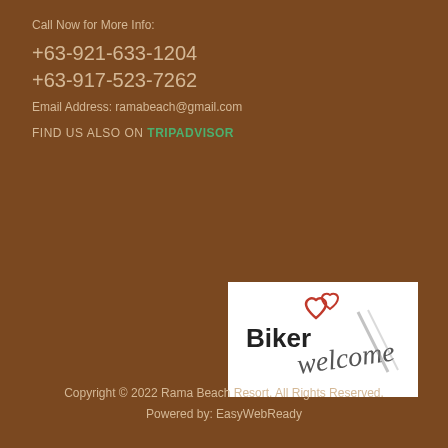Call Now for More Info:
+63-921-633-1204
+63-917-523-7262
Email Address: ramabeach@gmail.com
FIND US ALSO ON TRIPADVISOR
[Figure (logo): Biker Welcome logo with two hearts and italic welcome text on white background]
FOLLOW US ON:
[Figure (illustration): Up arrow button (scroll to top), golden circle with white arrow]
Copyright © 2022 Rama Beach Resort. All Rights Reserved.
Powered by: EasyWebReady